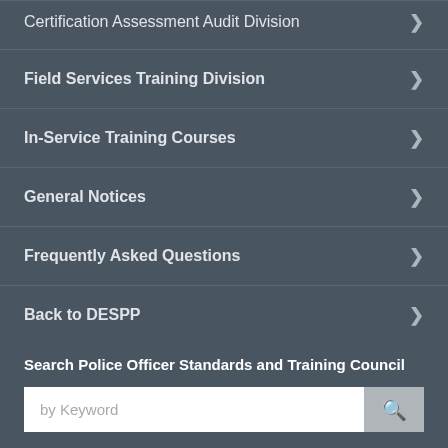Certification Assessment Audit Division
Field Services Training Division
In-Service Training Courses
General Notices
Frequently Asked Questions
Back to DESPP
Search Police Officer Standards and Training Council
by Keyword
Responding to Situations Involving People with Mental Illness